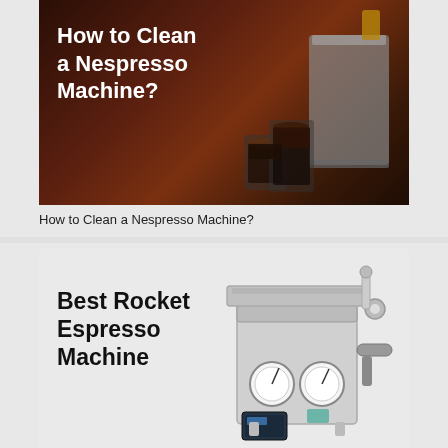[Figure (photo): Dark brown background image showing espresso cups with coffee and a Nespresso machine, with white bold text overlay reading 'How to Clean a Nespresso Machine?']
How to Clean a Nespresso Machine?
[Figure (photo): Light grey background with black bold text 'Best Rocket Espresso Machine' and image of a stainless steel Rocket espresso machine with gauges and portafilter]
The Best Rocket Espresso Machines in 2022
[Figure (photo): Dark/black background image partially visible with white bold text 'How To Use' visible at bottom]